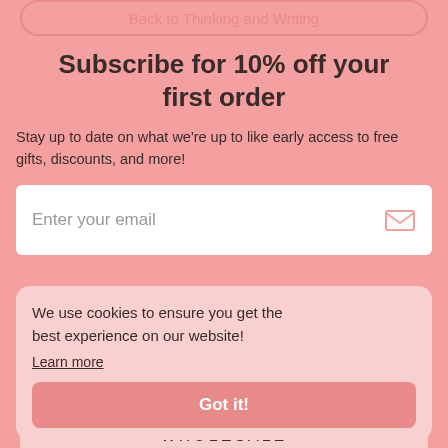Back to Thinking and Writing
Subscribe for 10% off your first order
Stay up to date on what we're up to like early access to free gifts, discounts, and more!
Enter your email
mei apothecary
HEALTHY SKIN IS HAPPY SKIN
We use cookies to ensure you get the best experience on our website!
Learn more
ABOUT
Got it!
CONTACT
SHIPPING + RETURNS
WHOLESALE